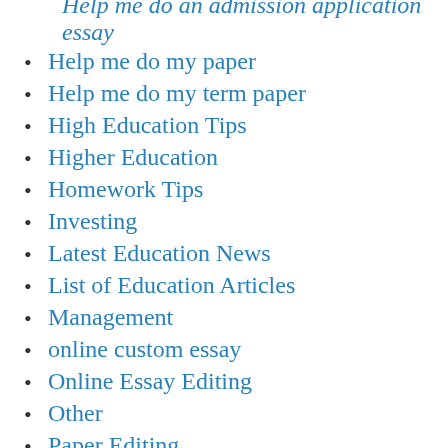Help me do an admission application essay
Help me do my paper
Help me do my term paper
High Education Tips
Higher Education
Homework Tips
Investing
Latest Education News
List of Education Articles
Management
online custom essay
Online Essay Editing
Other
Paper Editing
Paper Writings
progon
Resume Tutorial